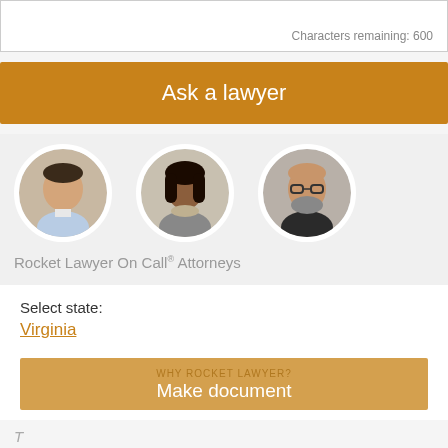Characters remaining: 600
Ask a lawyer
[Figure (photo): Three circular headshot photos of Rocket Lawyer On Call attorneys: a man with dark hair, a woman with dark hair, and a man with glasses and beard]
Rocket Lawyer On Call® Attorneys
Select state:
Virginia
WHY ROCKET LAWYER? Make document